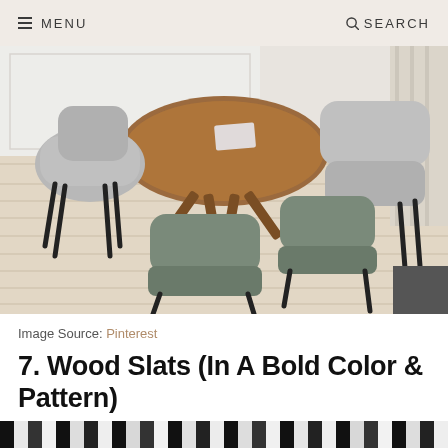MENU   SEARCH
[Figure (photo): Interior dining room with a round walnut wood table, grey upholstered chairs with dark patterned cushions, and light wide-plank wood flooring in a herringbone-style layout. White paneled walls and sheer curtains visible in background.]
Image Source: Pinterest
7. Wood Slats (In A Bold Color & Pattern)
[Figure (photo): Partial view of dark vertical wood slats in bold black and white striped pattern at the bottom of the page.]